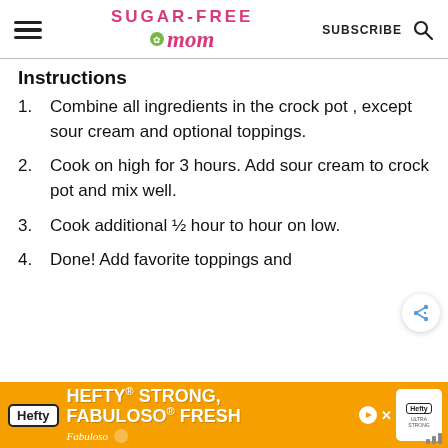Sugar-Free Mom — SUBSCRIBE
Instructions
Combine all ingredients in the crock pot , except sour cream and optional toppings.
Cook on high for 3 hours. Add sour cream to crock pot and mix well.
Cook additional ½ hour to hour on low.
Done! Add favorite toppings and
[Figure (screenshot): Advertisement banner: Hefty Strong, Fabuloso Fresh orange ad banner at bottom of page]